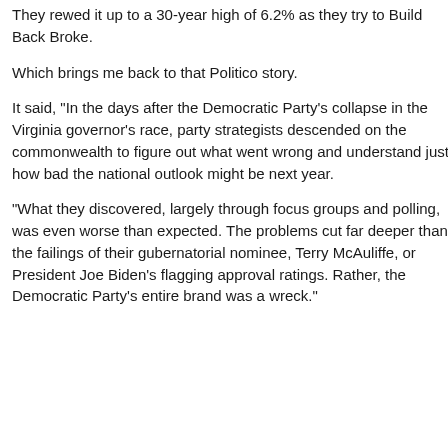They rewed it up to a 30-year high of 6.2% as they try to Build Back Broke.
Which brings me back to that Politico story.
It said, "In the days after the Democratic Party's collapse in the Virginia governor's race, party strategists descended on the commonwealth to figure out what went wrong and understand just how bad the national outlook might be next year.
"What they discovered, largely through focus groups and polling, was even worse than expected. The problems cut far deeper than the failings of their gubernatorial nominee, Terry McAuliffe, or President Joe Biden's flagging approval ratings. Rather, the Democratic Party's entire brand was a wreck."